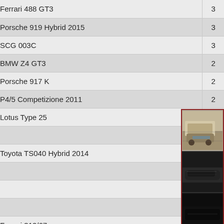| Car | Count |
| --- | --- |
| Ferrari 488 GT3 | 3 |
| Porsche 919 Hybrid 2015 | 3 |
| SCG 003C | 3 |
| BMW Z4 GT3 | 2 |
| Porsche 917 K | 2 |
| P4/5 Competizione 2011 | 2 |
| Lotus Type 25 | 2 |
|  | 2 |
| Toyota TS040 Hybrid 2014 | 2 |
|  | 2 |
|  |  |
|  |  |
| Ferrari 312/67 |  |
| McLaren 650S GT3 | 1 |
|  | 1 |
| Mazda RX-7 Tuned | 1 |
|  | 1 |
| Audi R8 LMS Ultra | 1 |
|  | 1 |
| Porsche 911 RSR 2017 | 1 |
[Figure (photo): Three thumbnail images of racing cars stacked vertically in a panel on the right side: top image shows a car in a garage/paddock (beige/tan tones), middle shows a dark car interior or side, bottom is nearly black.]